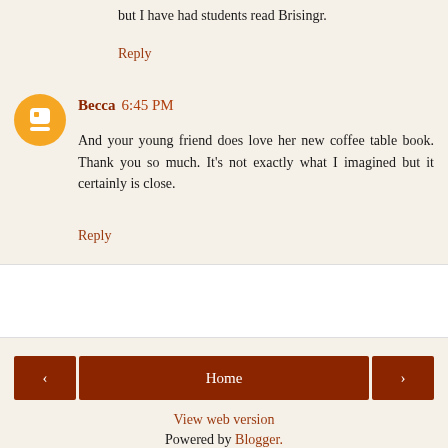but I have had students read Brisingr.
Reply
Becca 6:45 PM
And your young friend does love her new coffee table book. Thank you so much. It's not exactly what I imagined but it certainly is close.
Reply
Enter Comment
Home
View web version
Powered by Blogger.